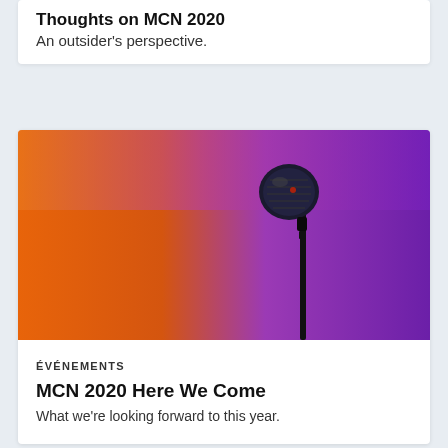Thoughts on MCN 2020
An outsider’s perspective.
[Figure (photo): Photograph of a microphone on a stand against a dramatic gradient background blending orange on the left and purple on the right.]
ÉVÉNEMENTS
MCN 2020 Here We Come
What we’re looking forward to this year.